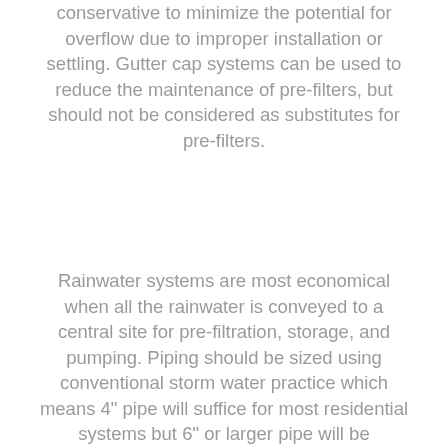conservative to minimize the potential for overflow due to improper installation or settling. Gutter cap systems can be used to reduce the maintenance of pre-filters, but should not be considered as substitutes for pre-filters.
Rainwater systems are most economical when all the rainwater is conveyed to a central site for pre-filtration, storage, and pumping. Piping should be sized using conventional storm water practice which means 4" pipe will suffice for most residential systems but 6" or larger pipe will be